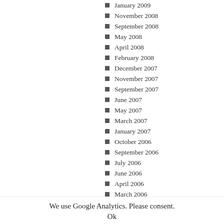January 2009
November 2008
September 2008
May 2008
April 2008
February 2008
December 2007
November 2007
September 2007
June 2007
May 2007
March 2007
January 2007
October 2006
September 2006
July 2006
June 2006
April 2006
March 2006
January 2006
December 2005
We use Google Analytics. Please consent.
Ok